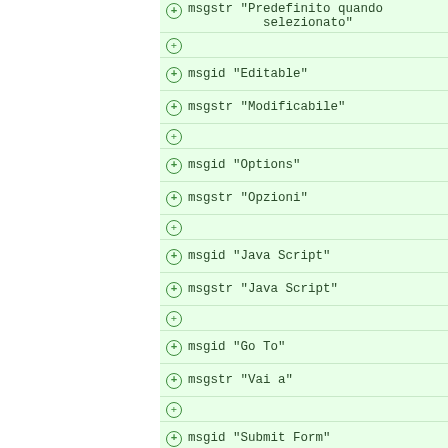msgstr "Predefinito quando selezionato"
msgid "Editable"
msgstr "Modificabile"
msgid "Options"
msgstr "Opzioni"
msgid "Java Script"
msgstr "Java Script"
msgid "Go To"
msgstr "Vai a"
msgid "Submit Form"
msgstr "Invia formulario"
msgid "Reset Form"
msgstr "Azzera formulario"
msgid "Import Data"
msgstr "Importa dati"